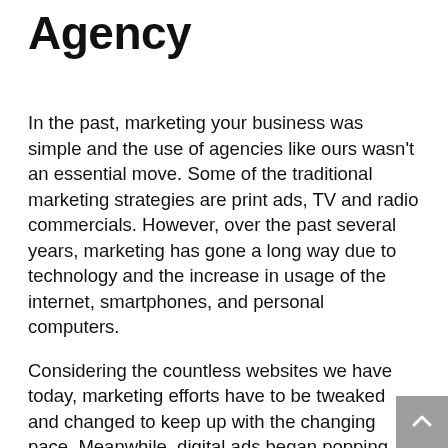Agency
In the past, marketing your business was simple and the use of agencies like ours wasn't an essential move. Some of the traditional marketing strategies are print ads, TV and radio commercials. However, over the past several years, marketing has gone a long way due to technology and the increase in usage of the internet, smartphones, and personal computers.
Considering the countless websites we have today, marketing efforts have to be tweaked and changed to keep up with the changing pace. Meanwhile, digital ads began popping anywhere online, and before we knew it, SEO Corpus Christi companies have become crucial to businesses. As everyone started creating email addresses and social media accounts as modern ways of communication, newer marketing efforts have also emerged including newsletters and mobile ads on social media. While you may create ads on your own, our SEO Corpus Christi team takes